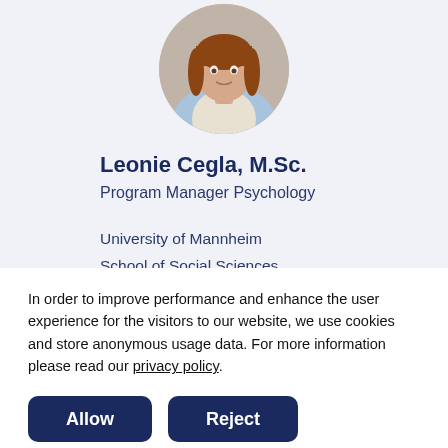[Figure (photo): Professional headshot of a woman with reddish-brown hair wearing a light blue blazer, shown in a circular crop against a light background.]
Leonie Cegla, M.Sc.
Program Manager Psychology
University of Mannheim
School of Social Sciences
A 5, 6
Building A – Room A 419
In order to improve performance and enhance the user experience for the visitors to our website, we use cookies and store anonymous usage data. For more information please read our privacy policy.
Allow
Reject